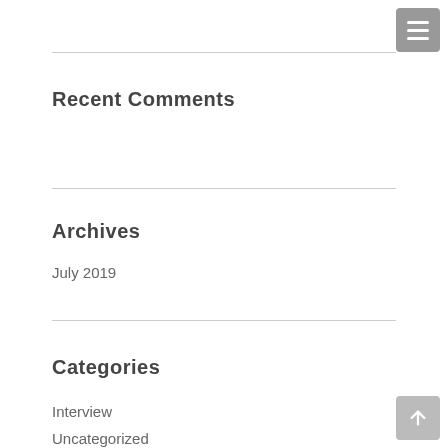Recent Comments
Archives
July 2019
Categories
Interview
Uncategorized